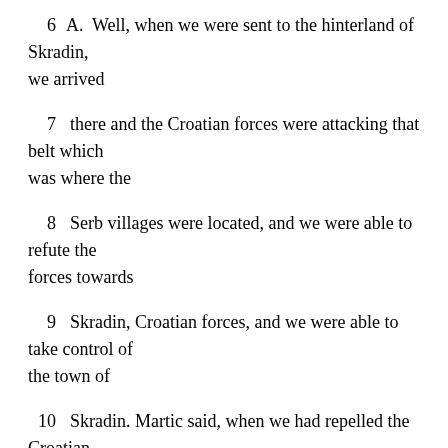6   A.  Well, when we were sent to the hinterland of Skradin, we arrived
7   there and the Croatian forces were attacking that belt which was where the
8   Serb villages were located, and we were able to refute the forces towards
9   Skradin, Croatian forces, and we were able to take control of the town of
10   Skradin.  Martic said, when we had repelled the Croatian forces, that we
11   should take control of Skradin.  And then General Ratko Mladic ...